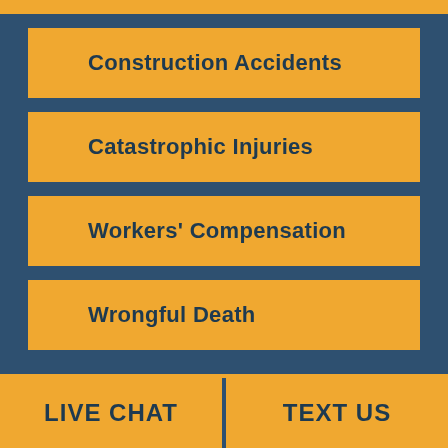Construction Accidents
Catastrophic Injuries
Workers' Compensation
Wrongful Death
LIVE CHAT    TEXT US